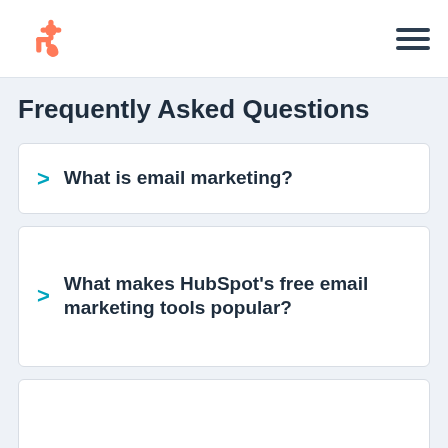HubSpot logo and navigation menu
Frequently Asked Questions
What is email marketing?
What makes HubSpot's free email marketing tools popular?
How much do HubSpot's email